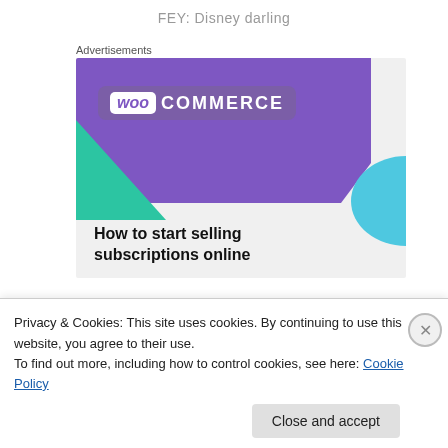FEY: Disney darling
Advertisements
[Figure (illustration): WooCommerce advertisement banner showing the WooCommerce logo on a purple background with teal and blue decorative shapes, and text reading 'How to start selling subscriptions online']
Privacy & Cookies: This site uses cookies. By continuing to use this website, you agree to their use.
To find out more, including how to control cookies, see here: Cookie Policy